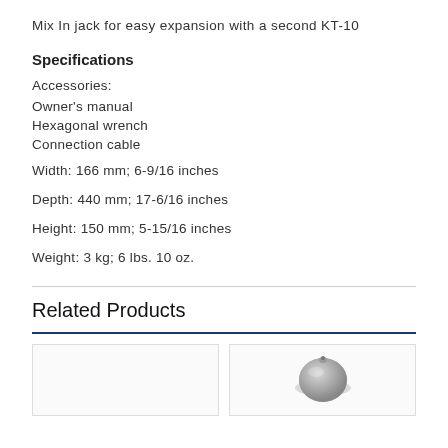Mix In jack for easy expansion with a second KT-10
Specifications
Accessories:
Owner's manual
Hexagonal wrench
Connection cable
Width: 166 mm; 6-9/16 inches
Depth: 440 mm; 17-6/16 inches
Height: 150 mm; 5-15/16 inches
Weight: 3 kg; 6 lbs. 10 oz.
Related Products
[Figure (photo): Product tile (empty/white)]
[Figure (photo): Product tile with grey circular product image]